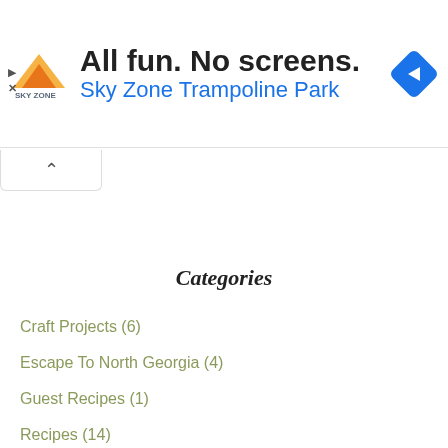[Figure (infographic): Sky Zone Trampoline Park advertisement banner with logo, tagline 'All fun. No screens.', and a blue navigation arrow icon]
Categories
Craft Projects (6)
Escape To North Georgia (4)
Guest Recipes (1)
Recipes (14)
Recyling & DIY Projects (4)